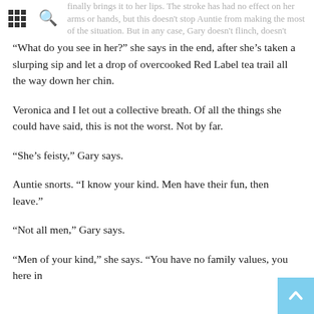finally brings it to her lips. The stroke has had no effect on her arms or hands, but this doesn't stop Auntie from making the most of the situation. But in any case, Gary doesn't flinch, doesn't even look away, doesn't try to rush her or help her.
“What do you see in her?” she says in the end, after she’s taken a slurping sip and let a drop of overcooked Red Label tea trail all the way down her chin.
Veronica and I let out a collective breath. Of all the things she could have said, this is not the worst. Not by far.
“She’s feisty,” Gary says.
Auntie snorts. “I know your kind. Men have their fun, then leave.”
“Not all men,” Gary says.
“Men of your kind,” she says. “You have no family values, you here in